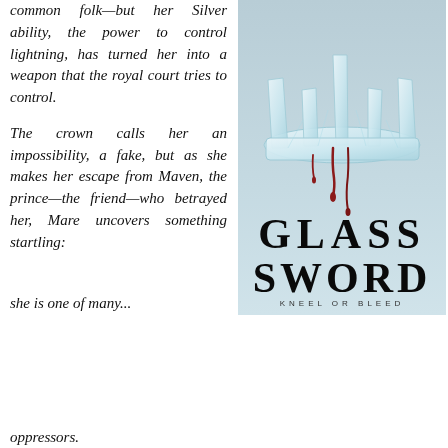common folk—but her Silver ability, the power to control lightning, has turned her into a weapon that the royal court tries to control.

The crown calls her an impossibility, a fake, but as she makes her escape from Maven, the prince—the friend—who betrayed her, Mare uncovers something startling:
[Figure (photo): Book cover of 'Glass Sword' showing a crystal/glass crown dripping with blood-red liquid on a light blue background. Below the crown in large serif text: 'GLASS SWORD' and smaller text 'KNEEL OR BLEED'.]
Privacy & Cookies: This site uses cookies. By continuing to use this website, you agree to their use. To find out more, including how to control cookies, see here: Cookie Policy
oppressors.